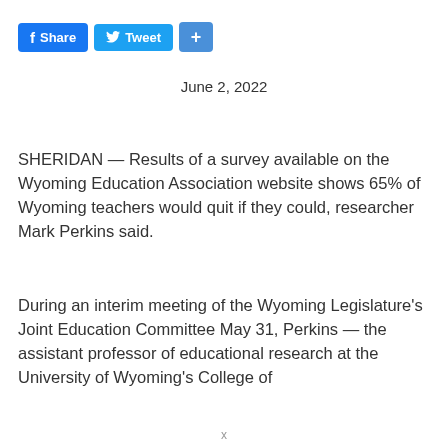[Figure (other): Social media sharing buttons: Facebook Share, Twitter Tweet, and a blue plus button]
June 2, 2022
SHERIDAN — Results of a survey available on the Wyoming Education Association website shows 65% of Wyoming teachers would quit if they could, researcher Mark Perkins said.
During an interim meeting of the Wyoming Legislature's Joint Education Committee May 31, Perkins — the assistant professor of educational research at the University of Wyoming's College of